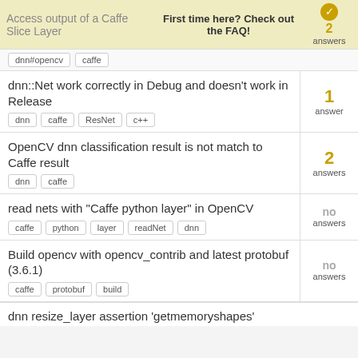Access output of a Caffe Slice Layer
First time here? Check out the FAQ!
Tags: dnn#opencv, caffe | 2 answers
dnn::Net work correctly in Debug and doesn't work in Release
Tags: dnn, caffe, ResNet, c++ | 1 answer
OpenCV dnn classification result is not match to Caffe result
Tags: dnn, caffe | 2 answers
read nets with "Caffe python layer" in OpenCV
Tags: caffe, python, layer, readNet, dnn | no answers
Build opencv with opencv_contrib and latest protobuf (3.6.1)
Tags: caffe, protobuf, build | no answers
dnn resize_layer assertion 'getmemoryshapes'